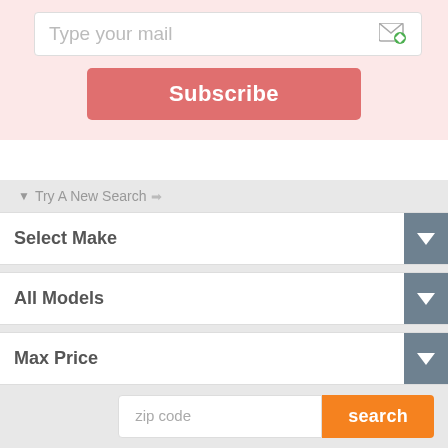[Figure (screenshot): Email subscription input box with placeholder text 'Type your mail' and a green email icon on the right]
Subscribe
▼ Try A New Search ➡
Select Make
All Models
Max Price
zip code
search
ENHANCED BY Google
⊕ Top
[Figure (infographic): Social media icons row: Facebook, Twitter, Pinterest, Instagram, YouTube, Tumblr, RSS feed]